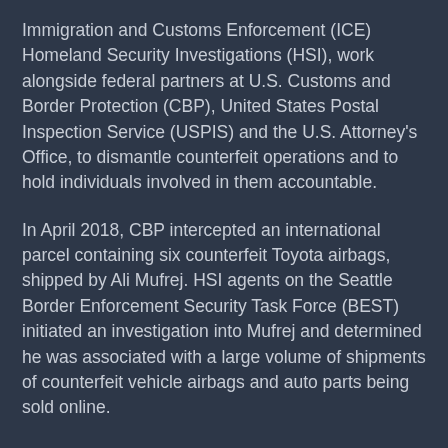Immigration and Customs Enforcement (ICE) Homeland Security Investigations (HSI), work alongside federal partners at U.S. Customs and Border Protection (CBP), United States Postal Inspection Service (USPIS) and the U.S. Attorney's Office, to dismantle counterfeit operations and to hold individuals involved in them accountable.
In April 2018, CBP intercepted an international parcel containing six counterfeit Toyota airbags, shipped by Ali Mufrej. HSI agents on the Seattle Border Enforcement Security Task Force (BEST) initiated an investigation into Mufrej and determined he was associated with a large volume of shipments of counterfeit vehicle airbags and auto parts being sold online.
On Dec. 12, 2018, HSI BEST-Seattle arrested Mufrej for multiple counts of trafficking counterfeit goods. HSI special agents also executed a search warrant at Mufrej's residence in Des Moines. During the execution of the search warrant, agents located and seized counterfeit airbags, airbag inflators, airbag covers, automaker emblems, electronic devices and miscellaneous documents relating to the shipment and sale of counterfeit airbags. The counterfeit...